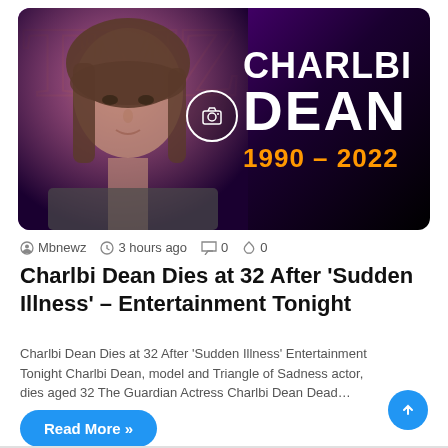[Figure (photo): Memorial graphic for Charlbi Dean showing her photo on a dark purple/magenta gradient background with large TMZ-style watermark letters, a camera circle icon overlay, and text 'CHARLBI DEAN 1990-2022' with name in white bold and years in orange]
Mbnewz  3 hours ago  0  0
Charlbi Dean Dies at 32 After 'Sudden Illness' – Entertainment Tonight
Charlbi Dean Dies at 32 After 'Sudden Illness'  Entertainment Tonight Charlbi Dean, model and Triangle of Sadness actor, dies aged 32  The Guardian Actress Charlbi Dean Dead…
Read More »